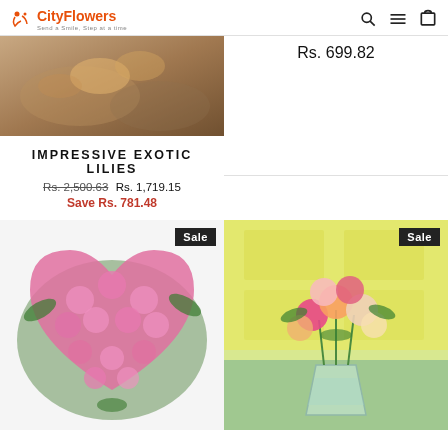CityFlowers
[Figure (photo): Partial product image of exotic lilies (cropped, showing flowers on fabric background)]
IMPRESSIVE EXOTIC LILIES
Rs. 2,500.63  Rs. 1,719.15
Save Rs. 781.48
Rs. 699.82
[Figure (photo): Heart-shaped arrangement of pink roses with green foliage, Sale badge in top right]
[Figure (photo): Mixed color roses (pink, orange, white) in a glass vase on a green table with yellow door background, Sale badge in top right]